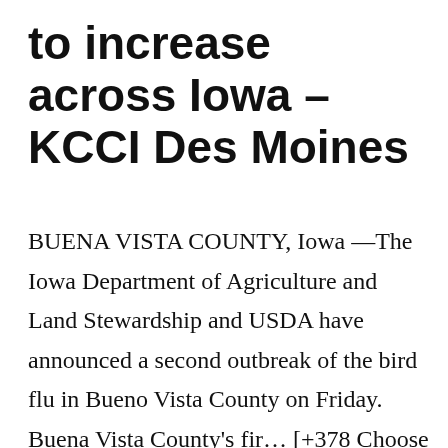to increase across Iowa – KCCI Des Moines
BUENA VISTA COUNTY, Iowa —The Iowa Department of Agriculture and Land Stewardship and USDA have announced a second outbreak of the bird flu in Bueno Vista County on Friday. Buena Vista County's fir… [+378 Choose your gift]